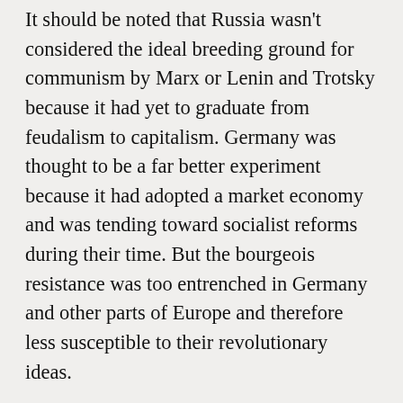It should be noted that Russia wasn't considered the ideal breeding ground for communism by Marx or Lenin and Trotsky because it had yet to graduate from feudalism to capitalism. Germany was thought to be a far better experiment because it had adopted a market economy and was tending toward socialist reforms during their time. But the bourgeois resistance was too entrenched in Germany and other parts of Europe and therefore less susceptible to their revolutionary ideas.
Like most revolutionaries who stoke the flames of discontent and overthrow a government, Lenin found it convenient and necessary, I suppose, to put his foot on the neck of the proletariat he so loved. You know, for their sake. Even Trotsky would have a violent turn as a revolutionary and was ultimately expelled by the even more violent Lenin who was succeeded by the even more violent Stalin. And before long the